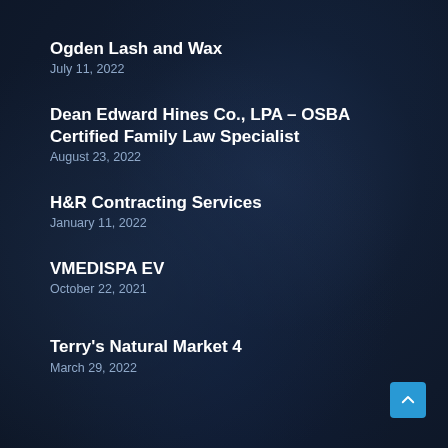Ogden Lash and Wax
July 11, 2022
Dean Edward Hines Co., LPA – OSBA Certified Family Law Specialist
August 23, 2022
H&R Contracting Services
January 11, 2022
VMEDISPA EV
October 22, 2021
Terry's Natural Market 4
March 29, 2022